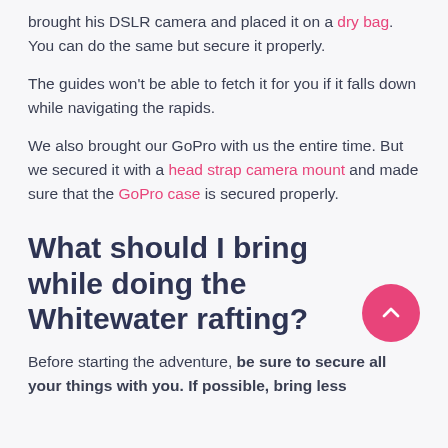brought his DSLR camera and placed it on a dry bag. You can do the same but secure it properly.
The guides won't be able to fetch it for you if it falls down while navigating the rapids.
We also brought our GoPro with us the entire time. But we secured it with a head strap camera mount and made sure that the GoPro case is secured properly.
What should I bring while doing the Whitewater rafting?
Before starting the adventure, be sure to secure all your things with you. If possible, bring less